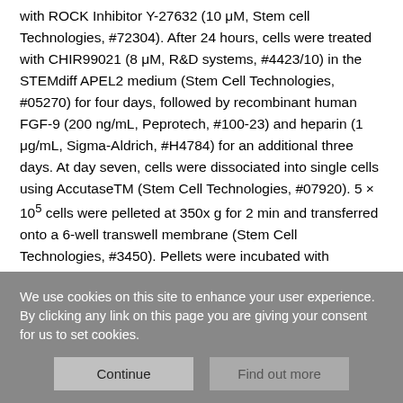with ROCK Inhibitor Y-27632 (10 μM, Stem cell Technologies, #72304). After 24 hours, cells were treated with CHIR99021 (8 μM, R&D systems, #4423/10) in the STEMdiff APEL2 medium (Stem Cell Technologies, #05270) for four days, followed by recombinant human FGF-9 (200 ng/mL, Peprotech, #100-23) and heparin (1 μg/mL, Sigma-Aldrich, #H4784) for an additional three days. At day seven, cells were dissociated into single cells using AccutaseTM (Stem Cell Technologies, #07920). 5 × 10⁵ cells were pelleted at 350x g for 2 min and transferred onto a 6-well transwell membrane (Stem Cell Technologies, #3450). Pellets were incubated with CHIR99021 (5 μM) in the APEL2 medium for one hour at 37°C. Then the medium was changed to the APEL2
We use cookies on this site to enhance your user experience. By clicking any link on this page you are giving your consent for us to set cookies.